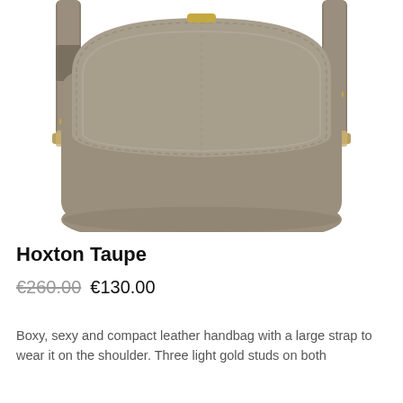[Figure (photo): A taupe/khaki colored leather crossbody saddle bag with gold hardware studs and a wide adjustable shoulder strap, photographed on a white background.]
Hoxton Taupe
€260.00  €130.00
Boxy, sexy and compact leather handbag with a large strap to wear it on the shoulder. Three light gold studs on both